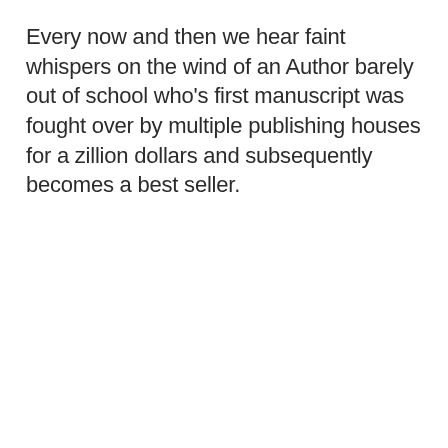Every now and then we hear faint whispers on the wind of an Author barely out of school who's first manuscript was fought over by multiple publishing houses for a zillion dollars and subsequently becomes a best seller.